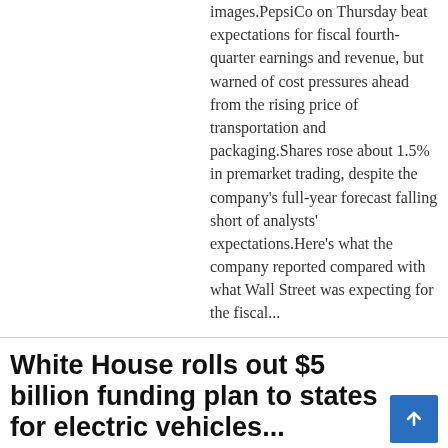images.PepsiCo on Thursday beat expectations for fiscal fourth-quarter earnings and revenue, but warned of cost pressures ahead from the rising price of transportation and packaging.Shares rose about 1.5% in premarket trading, despite the company's full-year forecast falling short of analysts' expectations.Here's what the company reported compared with what Wall Street was expecting for the fiscal...
White House rolls out $5 billion funding plan to states for electric vehicles...